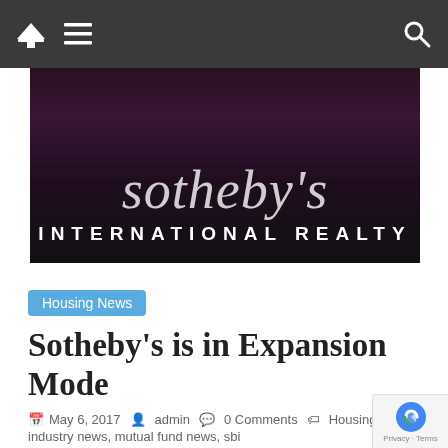Navigation bar with home, menu, and search icons
[Figure (photo): Sotheby's International Realty sign/logo on dark background showing the Sotheby's cursive text and INTERNATIONAL REALTY in bold letters]
Housing News
Sotheby's is in Expansion Mode
May 6, 2017  admin  0 Comments  Housing News, industry news, mutual fund news, sbi
Sotheby's International Realty, the real estate arm of the auction house Sotheby's, said it is expanding its presence in the domestic market with offices in top eight metros. Even as the company plans to open Mumbai office by mid-2017, it also plans to add two